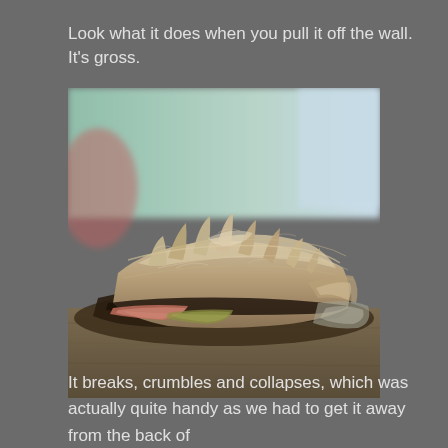Look what it does when you pull it off the wall. It’s gross.
[Figure (photo): Close-up photograph of deteriorated, fibrous, crumbling material (likely old insulation or degraded wall material) resting on a wooden surface. The material appears brown and fibrous, broken into layers and pieces, with frayed edges. The background is blurred and shows an outdoor setting.]
It breaks, crumbles and collapses, which was actually quite handy as we had to get it away from the back of